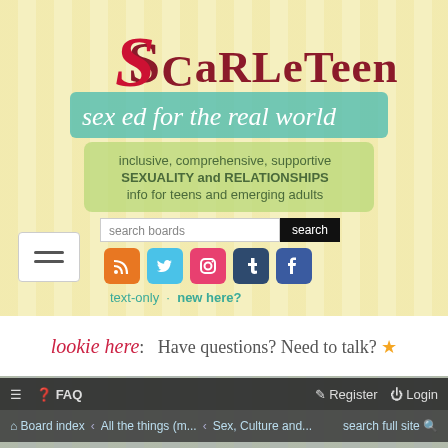[Figure (logo): Scarleteen logo — 'sex ed for the real world' with tagline: inclusive, comprehensive, supportive SEXUALITY and RELATIONSHIPS info for teens and emerging adults]
search boards
search
[Figure (infographic): Social media icons: RSS, Twitter, Instagram, Tumblr, Facebook]
text-only · new here?
lookie here:  Have questions? Need to talk? ★
≡  ⓘ FAQ    ✎ Register  ⏻ Login
⌂ Board index  ‹  All the things (m...  ‹  Sex, Culture and...  search full site 🔍